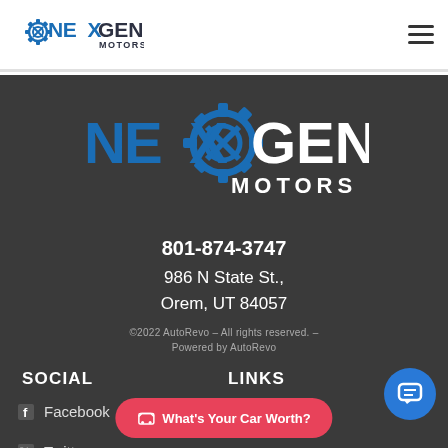[Figure (logo): NexGen Motors logo in header - blue and dark text with gear icon]
[Figure (logo): NexGen Motors logo in footer - blue and white text with gear icon, large version]
801-874-3747
986 N State St., Orem, UT 84057
©2022 AutoRevo – All rights reserved. –
Powered by AutoRevo
SOCIAL
LINKS
Facebook
Twitter
Home
[Figure (other): Blue circular chat button with message icon]
What's Your Car Worth?